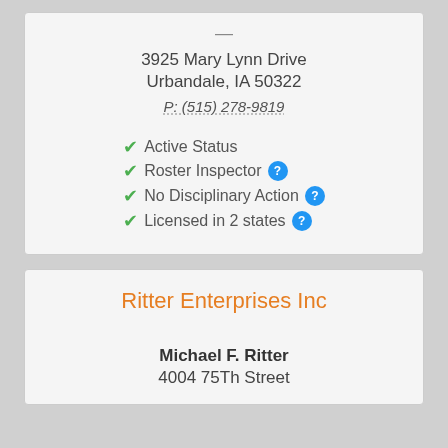—
3925 Mary Lynn Drive
Urbandale, IA 50322
P: (515) 278-9819
✔ Active Status
✔ Roster Inspector
✔ No Disciplinary Action
✔ Licensed in 2 states
Ritter Enterprises Inc
Michael F. Ritter
4004 75Th Street